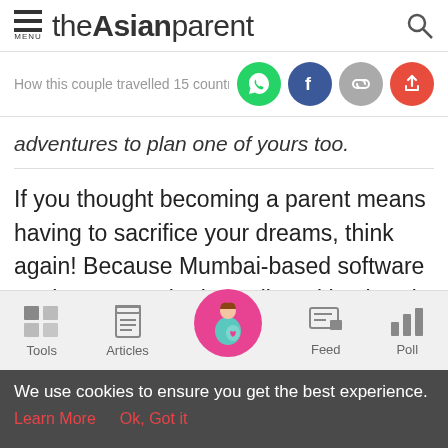theAsianparent
How this couple travelled 15 countries
adventures to plan one of yours too.
If you thought becoming a parent means having to sacrifice your dreams, think again! Because Mumbai-based software engineers, Rashmi Pandit and husband Chalukya Mohanraj, realised their dream of traveling the world as soon as they
We use cookies to ensure you get the best experience. Learn More  Ok, Got it